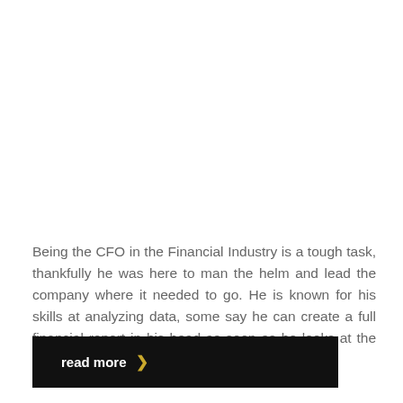Being the CFO in the Financial Industry is a tough task, thankfully he was here to man the helm and lead the company where it needed to go. He is known for his skills at analyzing data, some say he can create a full financial report in his head as soon as he looks at the data.
read more ›